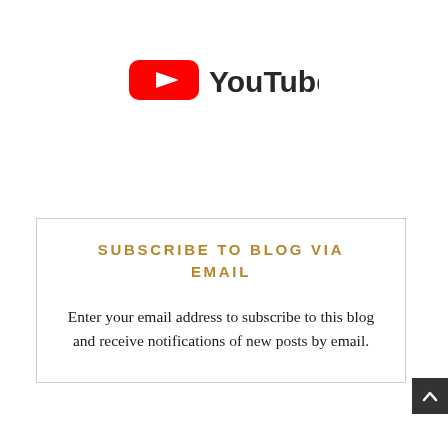[Figure (logo): YouTube logo: red rounded rectangle with white play button triangle, followed by 'YouTube' in dark/black bold sans-serif text]
SUBSCRIBE TO BLOG VIA EMAIL
Enter your email address to subscribe to this blog and receive notifications of new posts by email.